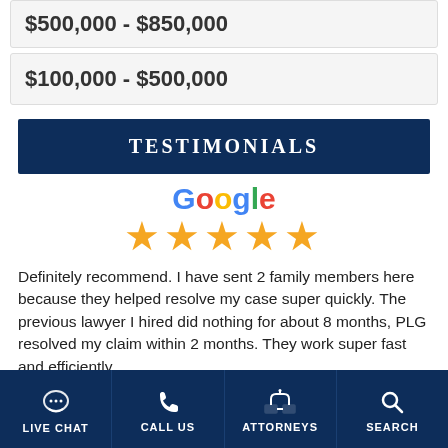$500,000 - $850,000
$100,000 - $500,000
TESTIMONIALS
[Figure (logo): Google logo in multicolor letters with 5 gold stars below]
Definitely recommend. I have sent 2 family members here because they helped resolve my case super quickly. The previous lawyer I hired did nothing for about 8 months, PLG resolved my claim within 2 months. They work super fast and efficiently.
LIVE CHAT  CALL US  ATTORNEYS  SEARCH